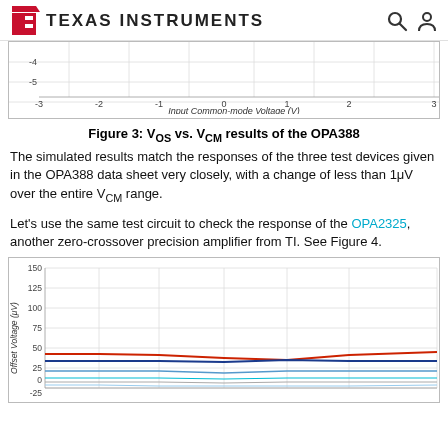Texas Instruments
[Figure (continuous-plot): Partial line chart showing VOS vs VCM, y-axis from -4 to -5 (partial), x-axis from -3 to 3 labeled Input Common-mode Voltage (V)]
Figure 3: VOS vs. VCM results of the OPA388
The simulated results match the responses of the three test devices given in the OPA388 data sheet very closely, with a change of less than 1μV over the entire VCM range.
Let's use the same test circuit to check the response of the OPA2325, another zero-crossover precision amplifier from TI. See Figure 4.
[Figure (continuous-plot): Line chart showing Offset Voltage (μV) vs Input Common-mode Voltage, y-axis from -25 to 150, multiple colored lines (red, dark blue, light blue, grey/cyan)]